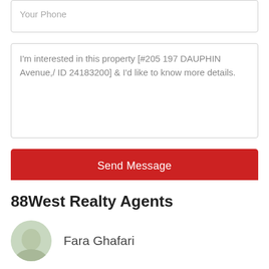Your Phone
I'm interested in this property [#205 197 DAUPHIN Avenue,/ ID 24183200] & I'd like to know more details.
Send Message
88West Realty Agents
Fara Ghafari